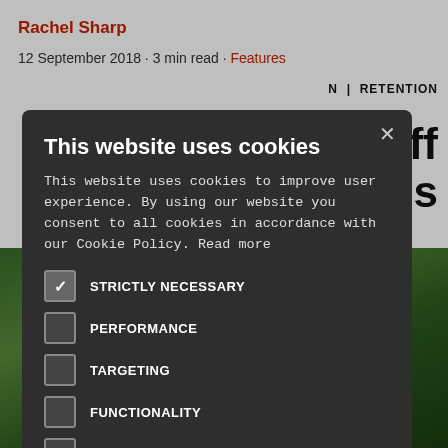Rachel Sharp
12 September 2018 · 3 min read · Features
N | RETENTION
staff
tels
[Figure (screenshot): Cookie consent modal dialog on a website. Dark background modal with title 'This website uses cookies', body text about cookie policy, checkboxes for STRICTLY NECESSARY (checked), PERFORMANCE, TARGETING, FUNCTIONALITY, UNCLASSIFIED, and two buttons: ACCEPT ALL (green) and DECLINE ALL (outlined), plus a SHOW DETAILS link at bottom.]
This website uses cookies
This website uses cookies to improve user experience. By using our website you consent to all cookies in accordance with our Cookie Policy. Read more
STRICTLY NECESSARY
PERFORMANCE
TARGETING
FUNCTIONALITY
UNCLASSIFIED
ACCEPT ALL
DECLINE ALL
SHOW DETAILS